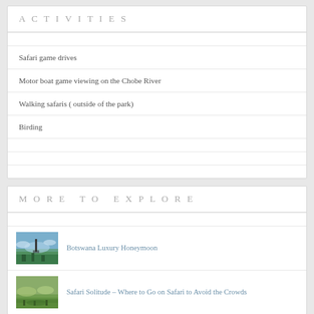ACTIVITIES
Safari game drives
Motor boat game viewing on the Chobe River
Walking safaris ( outside of the park)
Birding
MORE TO EXPLORE
Botswana Luxury Honeymoon
Safari Solitude – Where to Go on Safari to Avoid the Crowds